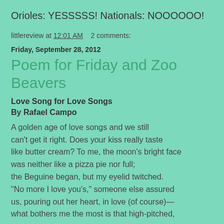Orioles: YESSSSS! Nationals: NOOOOOO!
littlereview at 12:01 AM   2 comments:
Friday, September 28, 2012
Poem for Friday and Zoo Beavers
Love Song for Love Songs
By Rafael Campo
A golden age of love songs and we still
can't get it right. Does your kiss really taste
like butter cream? To me, the moon's bright face
was neither like a pizza pie nor full;
the Beguine began, but my eyelid twitched.
"No more I love you's," someone else assured
us, pouring out her heart, in love (of course)—
what bothers me the most is that high-pitched,